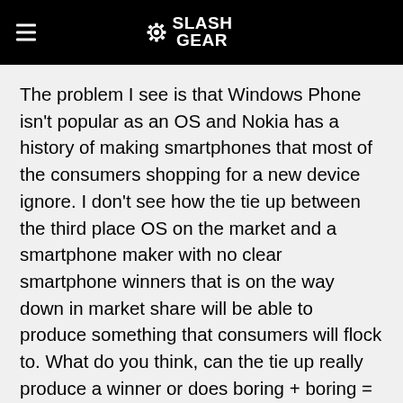SlashGear
The problem I see is that Windows Phone isn't popular as an OS and Nokia has a history of making smartphones that most of the consumers shopping for a new device ignore. I don't see how the tie up between the third place OS on the market and a smartphone maker with no clear smartphone winners that is on the way down in market share will be able to produce something that consumers will flock to. What do you think, can the tie up really produce a winner or does boring + boring = more fail.